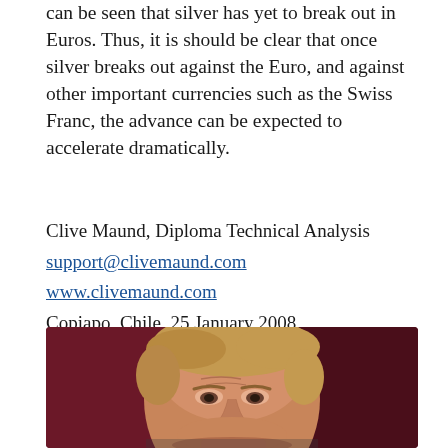can be seen that silver has yet to break out in Euros. Thus, it is should be clear that once silver breaks out against the Euro, and against other important currencies such as the Swiss Franc, the advance can be expected to accelerate dramatically.
Clive Maund, Diploma Technical Analysis
support@clivemaund.com
www.clivemaund.com
Copiapo, Chile, 25 January 2008
[Figure (photo): Portrait photograph of a man with light hair against a dark red/maroon background, looking slightly downward with a serious expression]